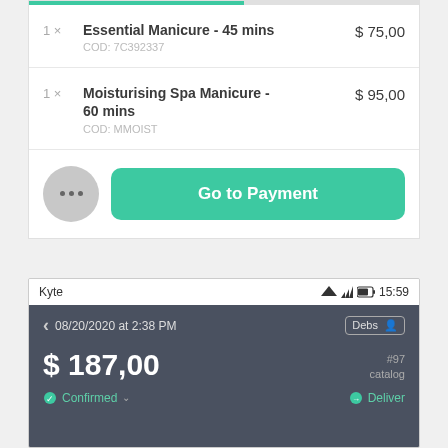[Figure (screenshot): Mobile app cart screen with progress bar, two cart items (Essential Manicure 45 mins $75,00 and Moisturising Spa Manicure 60 mins $95,00), a dots button and Go to Payment button]
[Figure (screenshot): Mobile app order confirmation screen showing order date 08/20/2020 at 2:38 PM, total $187,00, order #97 catalog, Confirmed and Deliver status]